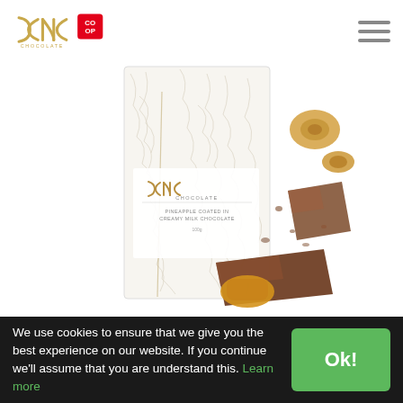[Figure (logo): DCNC Chocolate logo with Co-op badge on the left, and hamburger menu icon on the right]
[Figure (photo): Product photo: DCNC Chocolate box labeled 'Pineapple coated in creamy milk chocolate', surrounded by chocolate-coated pineapple pieces and broken chocolate]
We use cookies to ensure that we give you the best experience on our website. If you continue we'll assume that you are understand this. Learn more